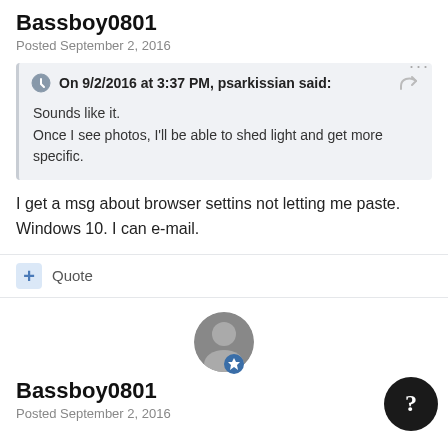Bassboy0801
Posted September 2, 2016
On 9/2/2016 at 3:37 PM, psarkissian said:
Sounds like it.
Once I see photos, I'll be able to shed light and get more specific.
I get a msg about browser settins not letting me paste. Windows 10. I can e-mail.
Quote
[Figure (photo): User avatar image for Bassboy0801]
Bassboy0801
Posted September 2, 2016